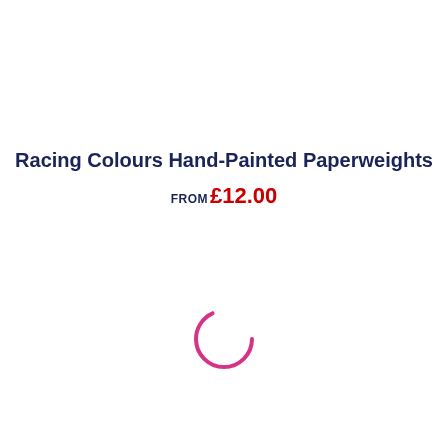Racing Colours Hand-Painted Paperweights
FROM £12.00
[Figure (other): Loading spinner — a partial circle arc in magenta/pink color indicating content is loading]